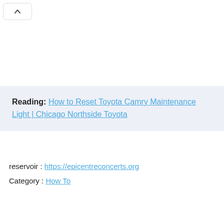[Figure (screenshot): UI chevron/up-arrow button in top-left corner]
Reading: How to Reset Toyota Camry Maintenance Light | Chicago Northside Toyota
reservoir : https://epicentreconcerts.org
Category : How To